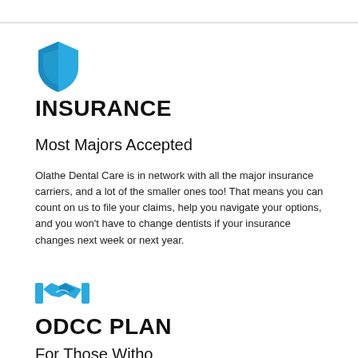[Figure (illustration): Blue shield/security icon representing insurance]
INSURANCE
Most Majors Accepted
Olathe Dental Care is in network with all the major insurance carriers, and a lot of the smaller ones too! That means you can count on us to file your claims, help you navigate your options, and you won't have to change dentists if your insurance changes next week or next year.
[Figure (illustration): Blue handshake icon representing ODCC plan]
ODCC PLAN
For Those Without Insurance